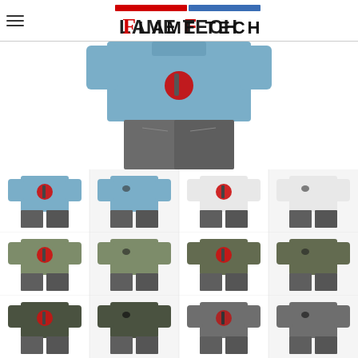[Figure (logo): Flame Tech logo with red and blue swoosh above the text]
[Figure (photo): Main product photo: back view of person wearing light blue Flame Tech t-shirt with red logo graphic, gray jeans]
[Figure (photo): Grid of 12 t-shirt thumbnail photos showing various colors: light blue (back/front), white (back/front), military green (back/front), olive (back/front), dark olive/army (back/front), heather gray (back/front)]